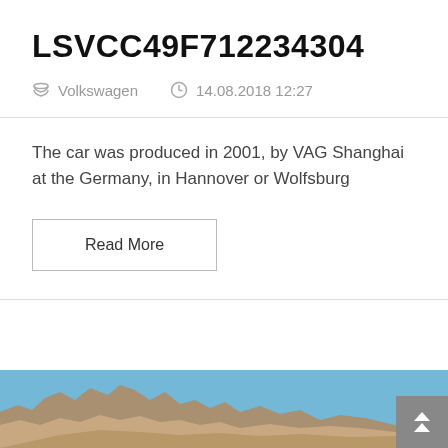LSVCC49F712234304
Volkswagen   14.08.2018 12:27
The car was produced in 2001, by VAG Shanghai at the Germany, in Hannover or Wolfsburg
Read More
[Figure (photo): Photo of rocky terrain with blue sky background, partially visible at bottom of page]